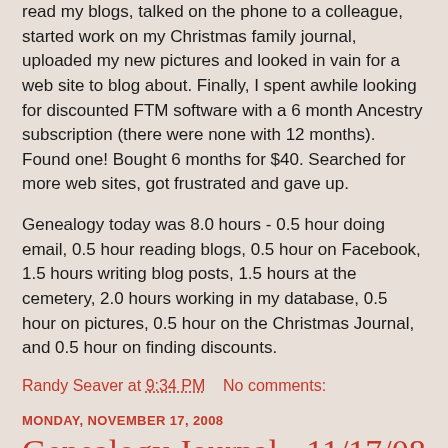read my blogs, talked on the phone to a colleague, started work on my Christmas family journal, uploaded my new pictures and looked in vain for a web site to blog about. Finally, I spent awhile looking for discounted FTM software with a 6 month Ancestry subscription (there were none with 12 months). Found one! Bought 6 months for $40. Searched for more web sites, got frustrated and gave up.
Genealogy today was 8.0 hours - 0.5 hour doing email, 0.5 hour reading blogs, 0.5 hour on Facebook, 1.5 hours writing blog posts, 1.5 hours at the cemetery, 2.0 hours working in my database, 0.5 hour on pictures, 0.5 hour on the Christmas Journal, and 0.5 hour on finding discounts.
Randy Seaver at 9:34 PM    No comments:
MONDAY, NOVEMBER 17, 2008
Genealogy Journal - 11/17/08
I was back on the genealogy bandwagon today, but didn't really get a lot done in terms of advancing my research.